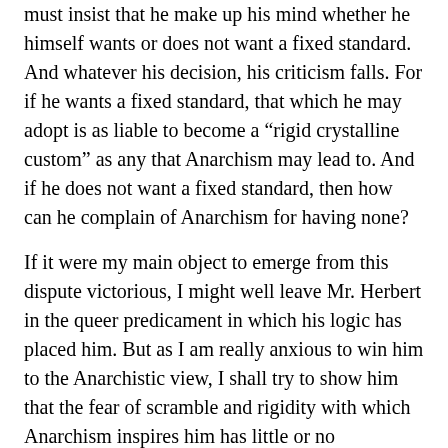must insist that he make up his mind whether he himself wants or does not want a fixed standard. And whatever his decision, his criticism falls. For if he wants a fixed standard, that which he may adopt is as liable to become a “rigid crystalline custom” as any that Anarchism may lead to. And if he does not want a fixed standard, then how can he complain of Anarchism for having none?
If it were my main object to emerge from this dispute victorious, I might well leave Mr. Herbert in the queer predicament in which his logic has placed him. But as I am really anxious to win him to the Anarchistic view, I shall try to show him that the fear of scramble and rigidity with which Anarchism inspires him has little or no